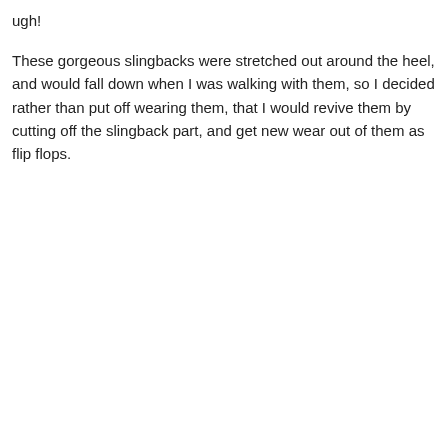ugh!
These gorgeous slingbacks were stretched out around the heel, and would fall down when I was walking with them, so I decided rather than put off wearing them, that I would revive them by cutting off the slingback part, and get new wear out of them as flip flops.